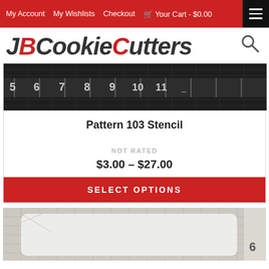My Account  My Wishlists  Checkout  Your Cart - $0.00
JBCookieCutters
[Figure (photo): Close-up of a ruler measuring tape showing numbers 5 through 11, dark background]
Pattern 103 Stencil
NOT RATED
$3.00 - $27.00
SELECT OPTIONS
[Figure (photo): Partial view of a stencil or cutting template on a ruled mat, showing the number 6 on a ruler at right edge]